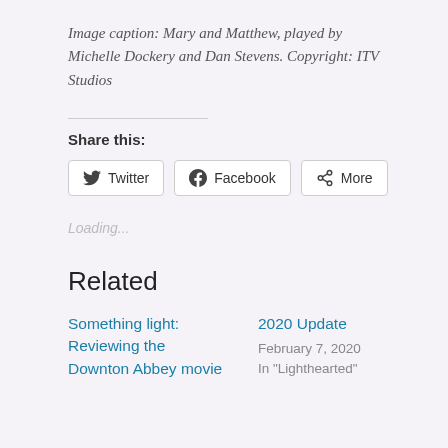Image caption: Mary and Matthew, played by Michelle Dockery and Dan Stevens. Copyright: ITV Studios
Share this:
[Figure (infographic): Share buttons for Twitter, Facebook, and More]
Loading...
Related
Something light: Reviewing the Downton Abbey movie
2020 Update
February 7, 2020
In "Lighthearted"